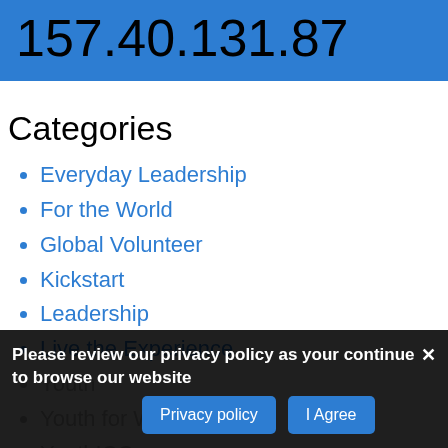157.40.131.87
Categories
Everyday Leadership
For the World
Global Volunteer
Kickstart
Leadership
Live the Experience
Youth
Youth for Work
YouthICC
Please review our privacy policy as your continue to browse our website